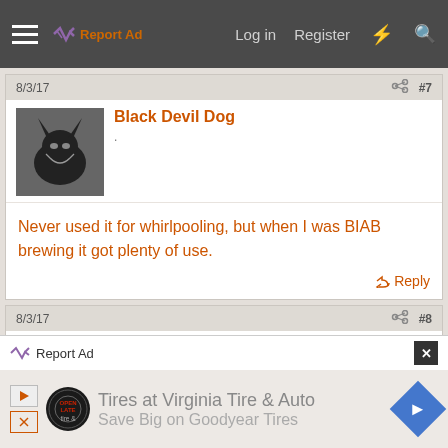Report Ad | Log in | Register
8/3/17  #7
Black Devil Dog
.
Never used it for whirlpooling, but when I was BIAB brewing it got plenty of use.
Reply
8/3/17  #8
MartinOC
Insert something suitably witty here
Report Ad
Tires at Virginia Tire & Auto
Save Big on Goodyear Tires